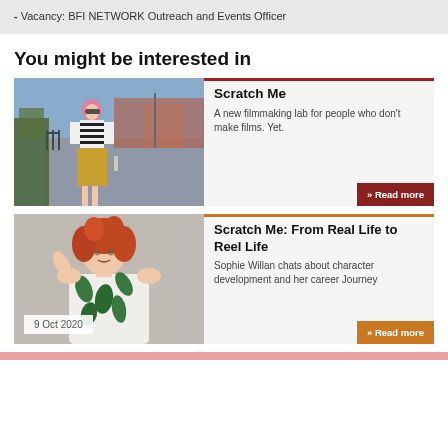- Vacancy: BFI NETWORK Outreach and Events Officer
You might be interested in
[Figure (photo): Woman with pink hair in striped top and yellow skirt standing on a street]
Scratch Me
A new filmmaking lab for people who don't make films. Yet.
[Figure (photo): Woman with red curly hair in floral dress, date badge showing 9 Oct 2020]
Scratch Me: From Real Life to Reel Life
Sophie Willan chats about character development and her career Journey